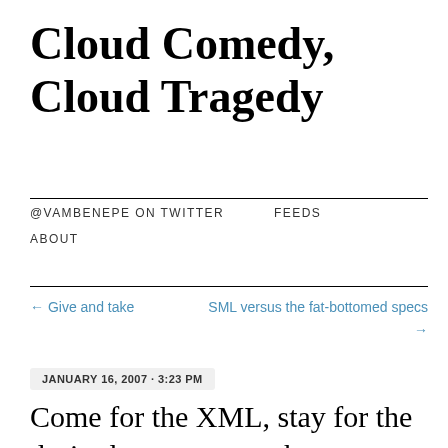Cloud Comedy, Cloud Tragedy
@VAMBENEPE ON TWITTER   FEEDS   ABOUT
← Give and take
SML versus the fat-bottomed specs →
JANUARY 16, 2007 · 3:23 PM
Come for the XML, stay for the desired-state approach